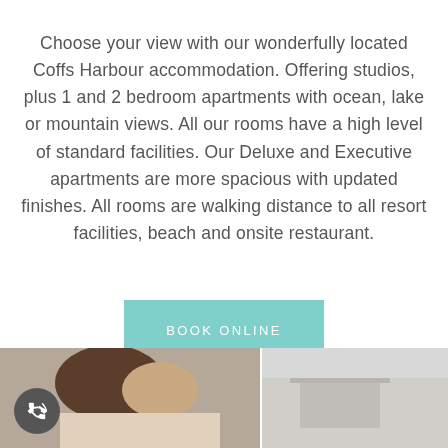Choose your view with our wonderfully located Coffs Harbour accommodation. Offering studios, plus 1 and 2 bedroom apartments with ocean, lake or mountain views. All our rooms have a high level of standard facilities. Our Deluxe and Executive apartments are more spacious with updated finishes. All rooms are walking distance to all resort facilities, beach and onsite restaurant.
BOOK ONLINE
[Figure (photo): Bottom portion showing two people (partially cropped), with a phone/call button overlay in the bottom left corner. Left image shows people indoors, right shows outdoor/building scene.]